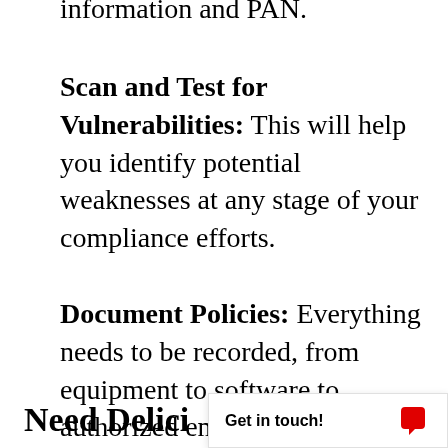information and PAN.
Scan and Test for Vulnerabilities: This will help you identify potential weaknesses at any stage of your compliance efforts.
Document Policies: Everything needs to be recorded, from equipment to software to authorized employees to access logs, and so on.
Need Delici...